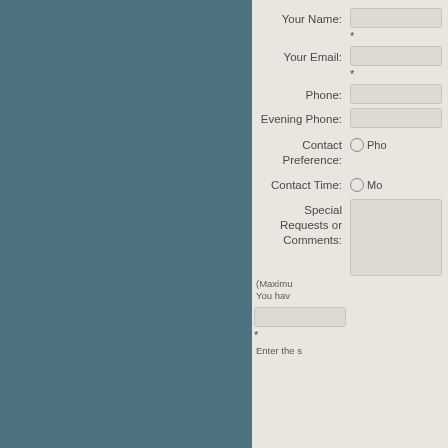Your Name:
*
Your Email:
*
Phone:
Evening Phone:
Contact Preference:
○ Pho...
Contact Time:
○ Mo...
Special Requests or Comments:
(Maximu...
You hav...
*
Enter the s...